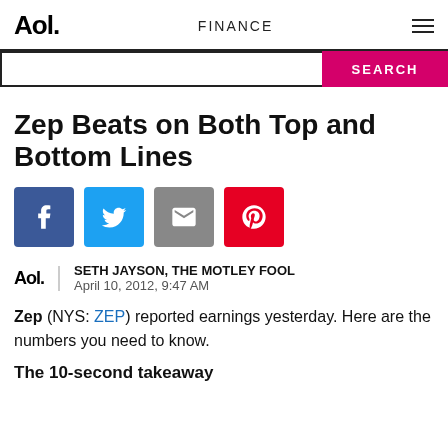Aol.  FINANCE
[Figure (screenshot): Search bar with pink SEARCH button]
Zep Beats on Both Top and Bottom Lines
[Figure (infographic): Social share buttons: Facebook, Twitter, Email, Pinterest]
SETH JAYSON, THE MOTLEY FOOL
April 10, 2012, 9:47 AM
Zep (NYS: ZEP) reported earnings yesterday. Here are the numbers you need to know.
The 10-second takeaway